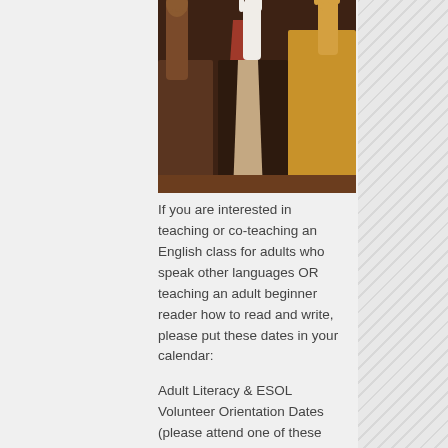[Figure (illustration): Colorful illustration showing multiple hands raised, with figures in brown, dark brown, and yellow/tan tones, suggesting diversity]
If you are interested in teaching or co-teaching an English class for adults who speak other languages OR teaching an adult beginner reader how to read and write, please put these dates in your calendar:
Adult Literacy & ESOL Volunteer Orientation Dates (please attend one of these sessions):
January 7 (10am-11am or 6-7pm)
January 9 (6-7pm)
January 13 (6-7pm